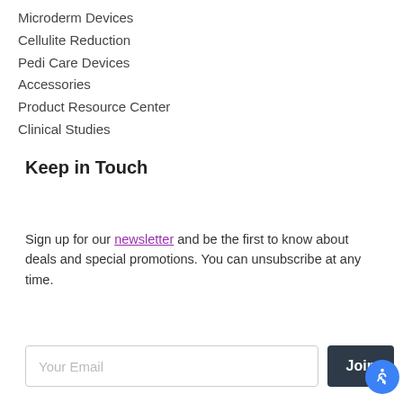Microderm Devices
Cellulite Reduction
Pedi Care Devices
Accessories
Product Resource Center
Clinical Studies
Keep in Touch
Sign up for our newsletter and be the first to know about deals and special promotions. You can unsubscribe at any time.